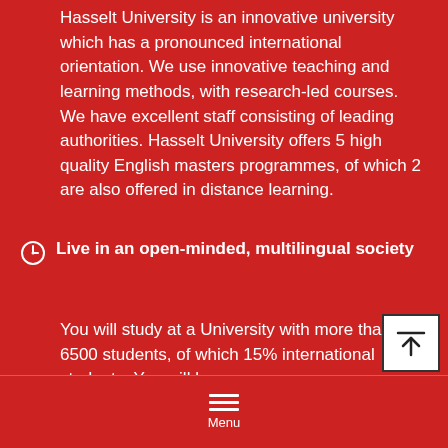Hasselt University is an innovative university which has a pronounced international orientation. We use innovative teaching and learning methods, with research-led courses. We have excellent staff consisting of leading authorities. Hasselt University offers 5 high quality English masters programmes, of which 2 are also offered in distance learning.
Live in an open-minded, multilingual society
You will study at a University with more than 6500 students, of which 15% international students. You will be
Menu